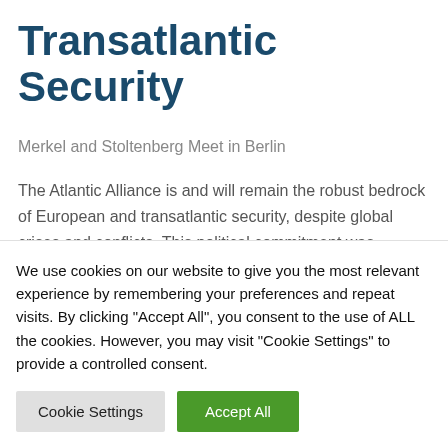Transatlantic Security
Merkel and Stoltenberg Meet in Berlin
The Atlantic Alliance is and will remain the robust bedrock of European and transatlantic security, despite global crises and conflicts. This political commitment was reiterated by Germany's Federal Chancellor Angela
We use cookies on our website to give you the most relevant experience by remembering your preferences and repeat visits. By clicking "Accept All", you consent to the use of ALL the cookies. However, you may visit "Cookie Settings" to provide a controlled consent.